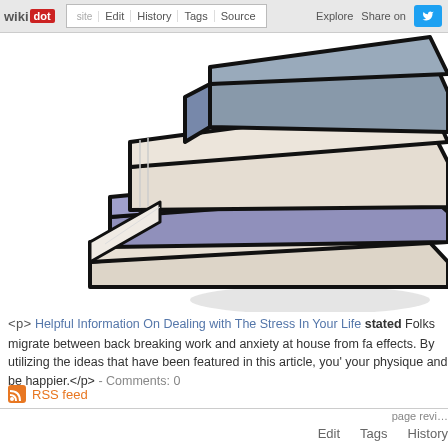wikidot | Edit | History | Tags | Source | Explore | Share on
[Figure (illustration): Cartoon/vector illustration of a stack of books with bold outlines, showing books in blue-gray, cream/beige, and lavender colors stacked at angles on a white background with a gray shadow.]
<p> Helpful Information On Dealing with The Stress In Your Life stated Folks migrate between back breaking work and anxiety at house from fa... effects. By utilizing the ideas that have been featured in this article, you' your physique and be happier.</p> - Comments: 0
RSS feed
page revi... Edit Tags History